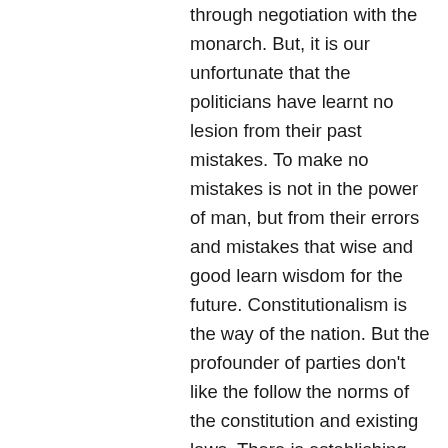through negotiation with the monarch. But, it is our unfortunate that the politicians have learnt no lesion from their past mistakes. To make no mistakes is not in the power of man, but from their errors and mistakes that wise and good learn wisdom for the future. Constitutionalism is the way of the nation. But the profounder of parties don't like the follow the norms of the constitution and existing laws. There is establishing the anarchism by such destructive activities. The leaders of Nepal Congress, UML, Maoists and other don't like to improve their mistakes.
Nepal has been always showing goodwill towards India. Cordial people to people level relations between Nepal and India has existed since ancient times. We have to keep friendly